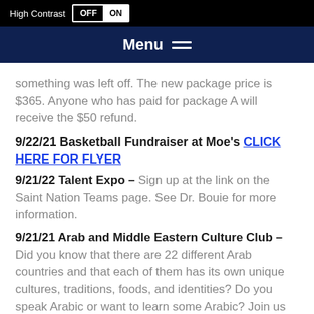High Contrast OFF ON
Menu
something was left off. The new package price is $365. Anyone who has paid for package A will receive the $50 refund.
9/22/21 Basketball Fundraiser at Moe's CLICK HERE FOR FLYER
9/21/22 Talent Expo –
Sign up at the link on the Saint Nation Teams page. See Dr. Bouie for more information.
9/21/21 Arab and Middle Eastern Culture Club –
Did you know that there are 22 different Arab countries and that each of them has its own unique cultures, traditions, foods, and identities? Do you speak Arabic or want to learn some Arabic? Join us this year to learn about